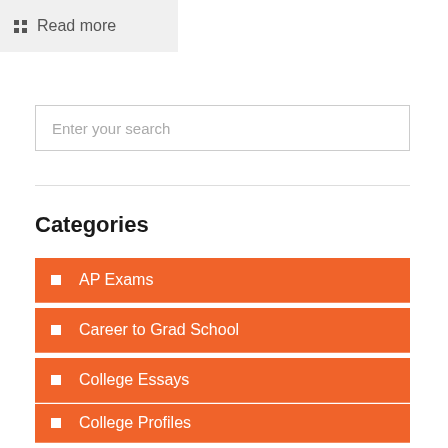Read more
Enter your search
Categories
AP Exams
Career to Grad School
College Essays
College Profiles
College Visits
Covid-19